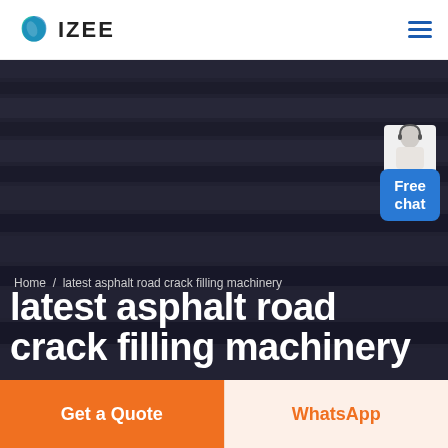[Figure (logo): IZEE logo with teal/blue leaf-like icon and bold IZEE text]
[Figure (screenshot): Hero banner with dark overlay on asphalt/road stripes background, breadcrumb navigation reading Home / latest asphalt road crack filling machinery, large white bold title text, and a Free chat widget in top right corner]
Home  /  latest asphalt road crack filling machinery
latest asphalt road crack filling machinery
Get a Quote
WhatsApp